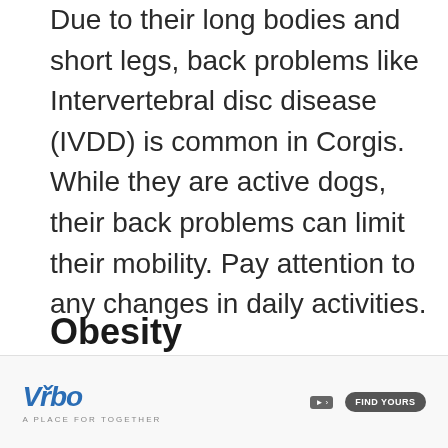Due to their long bodies and short legs, back problems like Intervertebral disc disease (IVDD) is common in Corgis. While they are active dogs, their back problems can limit their mobility. Pay attention to any changes in daily activities.
Obesity
Although Corgis are a medium-sized breed, their unique stature makes them more prone to gaining weight. Too m...